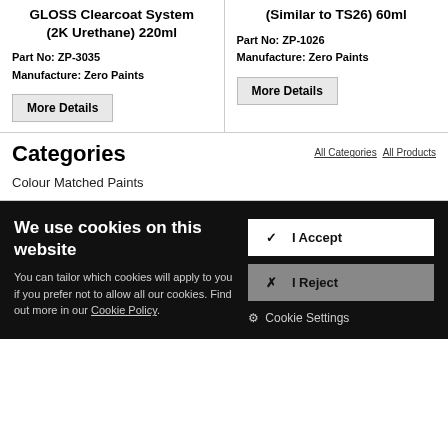GLOSS Clearcoat System (2K Urethane) 220ml
Part No: ZP-3035
Manufacture: Zero Paints
(Similar to TS26) 60ml
Part No: ZP-1026
Manufacture: Zero Paints
Categories
All Categories  All Products
Colour Matched Paints
We use cookies on this website
You can tailor which cookies will apply to you if you prefer not to allow all our cookies. Find out more in our Cookie Policy.